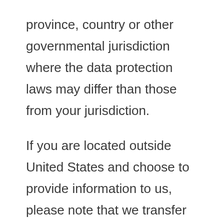province, country or other governmental jurisdiction where the data protection laws may differ than those from your jurisdiction.
If you are located outside United States and choose to provide information to us, please note that we transfer the data, including Personal Data, to United States and process it there.
Your consent to this Privacy Policy followed by your submission of such information